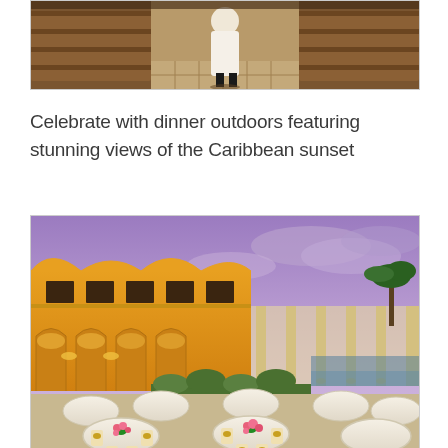[Figure (photo): A person in white clothing walking through a wooden interior hallway or chapel, viewed from behind.]
Celebrate with dinner outdoors featuring stunning views of the Caribbean sunset
[Figure (photo): An outdoor wedding reception setup at a yellow colonial-style resort building at dusk, with round tables draped in white linen, gold chair sashes, and pink floral centerpieces, under a purple sky.]